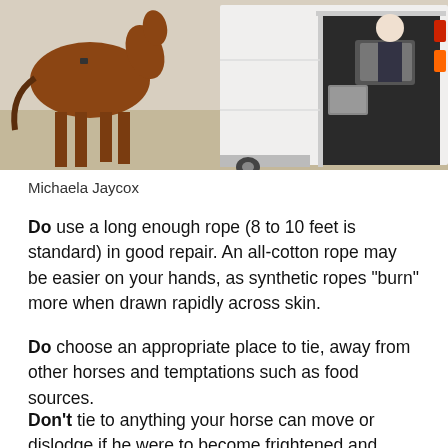[Figure (photo): A horse standing near a horse trailer with the rear door open, showing equipment inside.]
Michaela Jaycox
Do use a long enough rope (8 to 10 feet is standard) in good repair. An all-cotton rope may be easier on your hands, as synthetic ropes “burn” more when drawn rapidly across skin.
Do choose an appropriate place to tie, away from other horses and temptations such as food sources.
Don’t tie to anything your horse can move or dislodge if he were to become frightened and